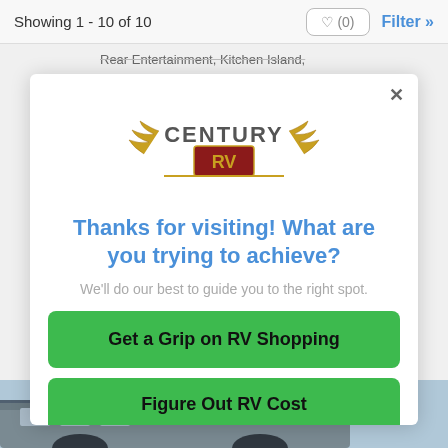Showing 1 - 10 of 10   ♥ (0)   Filter »
Rear Entertainment, Kitchen Island,
[Figure (logo): Century RV logo with wings and gold/red text]
Thanks for visiting! What are you trying to achieve?
We'll do our best to guide you to the right spot.
Get a Grip on RV Shopping
Figure Out RV Cost
[Figure (photo): Partial view of an RV exterior at the bottom of the page]